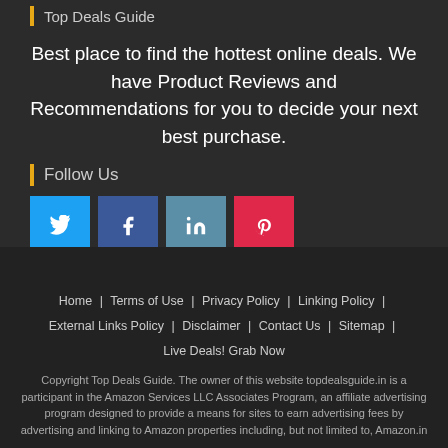Top Deals Guide
Best place to find the hottest online deals. We have Product Reviews and Recommendations for you to decide your next best purchase.
Follow Us
[Figure (other): Four social media icon buttons: Twitter (cyan), Facebook (dark blue), LinkedIn (steel blue), Pinterest (red)]
Home | Terms of Use | Privacy Policy | Linking Policy | External Links Policy | Disclaimer | Contact Us | Sitemap | Live Deals! Grab Now
Copyright Top Deals Guide. The owner of this website topdealsguide.in is a participant in the Amazon Services LLC Associates Program, an affiliate advertising program designed to provide a means for sites to earn advertising fees by advertising and linking to Amazon properties including, but not limited to, Amazon.in